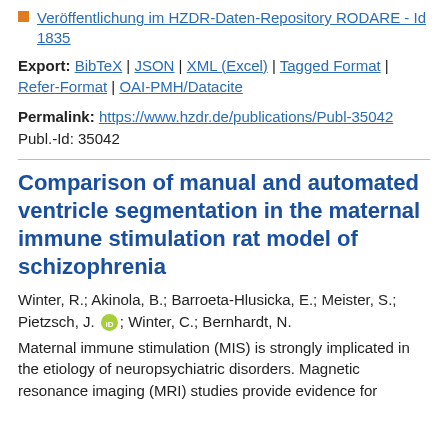Veröffentlichung im HZDR-Daten-Repository RODARE - Id 1835
Export: BibTeX | JSON | XML (Excel) | Tagged Format | Refer-Format | OAI-PMH/Datacite
Permalink: https://www.hzdr.de/publications/Publ-35042
Publ.-Id: 35042
Comparison of manual and automated ventricle segmentation in the maternal immune stimulation rat model of schizophrenia
Winter, R.; Akinola, B.; Barroeta-Hlusicka, E.; Meister, S.; Pietzsch, J. [ORCID]; Winter, C.; Bernhardt, N.
Maternal immune stimulation (MIS) is strongly implicated in the etiology of neuropsychiatric disorders. Magnetic resonance imaging (MRI) studies provide evidence for